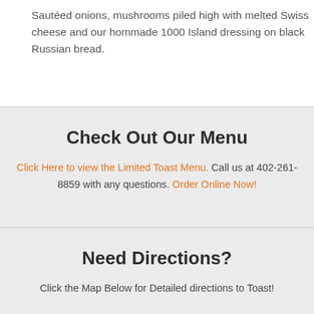Sautéed onions, mushrooms piled high with melted Swiss cheese and our hommade 1000 Island dressing on black Russian bread.
Check Out Our Menu
Click Here to view the Limited Toast Menu. Call us at 402-261-8859 with any questions. Order Online Now!
Need Directions?
Click the Map Below for Detailed directions to Toast!